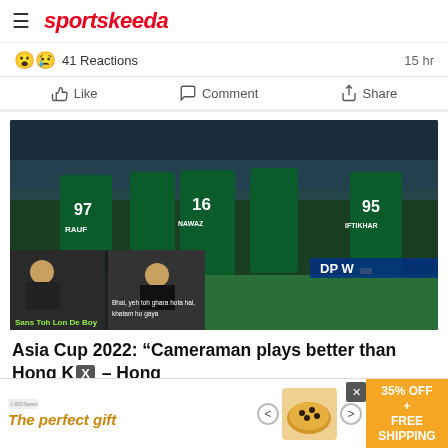sportskeeda
41 Reactions   15 hr
Like   Comment   Share
[Figure (photo): Pakistan cricket team players in green jerseys with numbers 97, 16, 95 celebrating on field, with meme overlay at bottom showing two scenes with text 'Sans Toh Lon De Boy' and 'Bhai, yeh toh ghara hota hai, khatam ho gaya']
Asia Cup 2022: “Cameraman plays better than Hong K— - Hong
[Figure (other): Advertisement banner: 'The perfect gift' with food image and '35% OFF + FREE SHIPPING' offer]